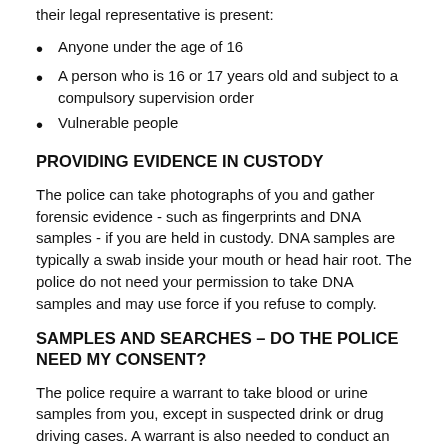their legal representative is present:
Anyone under the age of 16
A person who is 16 or 17 years old and subject to a compulsory supervision order
Vulnerable people
PROVIDING EVIDENCE IN CUSTODY
The police can take photographs of you and gather forensic evidence - such as fingerprints and DNA samples - if you are held in custody. DNA samples are typically a swab inside your mouth or head hair root. The police do not need your permission to take DNA samples and may use force if you refuse to comply.
SAMPLES AND SEARCHES – DO THE POLICE NEED MY CONSENT?
The police require a warrant to take blood or urine samples from you, except in suspected drink or drug driving cases. A warrant is also needed to conduct an intimate body search, sometimes referred to as a 'strip search', or an invasive search